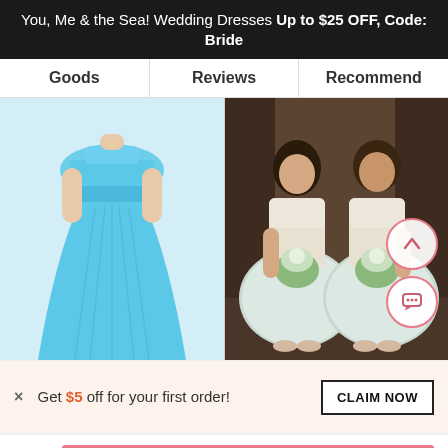You, Me & the Sea! Wedding Dresses Up to $25 OFF, Code: Bride
Goods | Reviews | Recommend
[Figure (photo): Left: Model wearing a strapless blue floor-length chiffon bridesmaid dress with a flowy overlay bodice. Right: Two bridesmaids in white/ivory lace top, tulle-skirt knee-length dresses holding bouquets of white and green flowers.]
× Get $5 off for your first order!
CLAIM NOW
ADD TO BAG